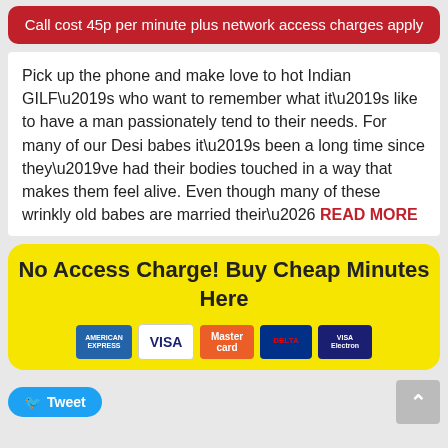Call cost 45p per minute plus network access charges apply
Pick up the phone and make love to hot Indian GILF’s who want to remember what it’s like to have a man passionately tend to their needs. For many of our Desi babes it’s been a long time since they’ve had their bodies touched in a way that makes them feel alive. Even though many of these wrinkly old babes are married their… READ MORE
No Access Charge! Buy Cheap Minutes Here
[Figure (other): Payment card icons: American Express, Visa, Mastercard, Delta, Visa Electron]
Tweet